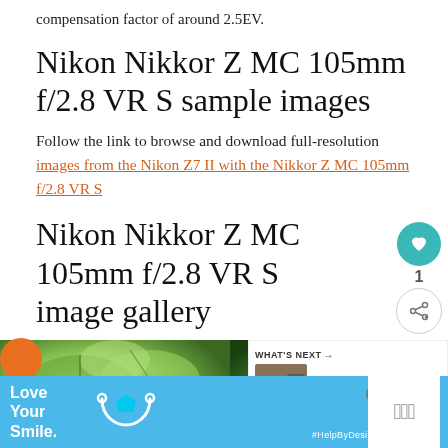compensation factor of around 2.5EV.
Nikon Nikkor Z MC 105mm f/2.8 VR S sample images
Follow the link to browse and download full-resolution images from the Nikon Z7 II with the Nikkor Z MC 105mm f/2.8 VR S
Nikon Nikkor Z MC 105mm f/2.8 VR S image gallery
[Figure (photo): Two sample photos of green plant leaves shown side by side in a gallery strip]
[Figure (screenshot): What's Next overlay showing a person thumbnail and text 'How to use Nikon Eye-...']
[Figure (infographic): Blue advertisement banner: Love Your Smile. #HelpByDesign with cyan pentagon graphic and logo]